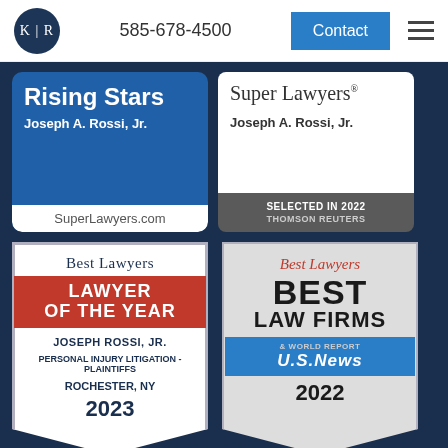[Figure (logo): K|R law firm logo in dark navy circle]
585-678-4500
Contact
[Figure (illustration): Rising Stars - Joseph A. Rossi, Jr. - SuperLawyers.com badge]
[Figure (illustration): Super Lawyers - Joseph A. Rossi, Jr. - Selected in 2022 Thomson Reuters badge]
[Figure (illustration): Best Lawyers Lawyer of the Year - Joseph Rossi, Jr. - Personal Injury Litigation - Plaintiffs - Rochester, NY - 2023]
[Figure (illustration): Best Lawyers Best Law Firms - U.S. News & World Report - 2022]